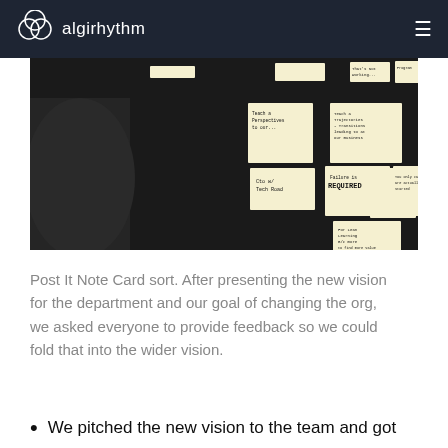algirhythm
[Figure (photo): Photo of a dark board covered with multiple handwritten sticky notes including text like 'Failure is REQUIRED', 'CTO w/ Tech Road', 'Teach a Perspectives to our...' and others.]
Post It Note Card sort. After presenting the new vision for the department and our goal of changing the org, we asked everyone to provide feedback so we could fold that into the wider vision.
We pitched the new vision to the team and got